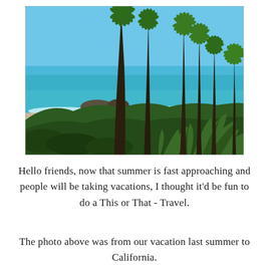[Figure (photo): A sunny beach scene in California with tall palm trees in the foreground, turquoise ocean water and waves, rocky outcroppings in the water, lush green tropical vegetation including large agave plants in the lower right, and a clear blue sky.]
Hello friends, now that summer is fast approaching and people will be taking vacations, I thought it'd be fun to do a This or That - Travel.
The photo above was from our vacation last summer to California.